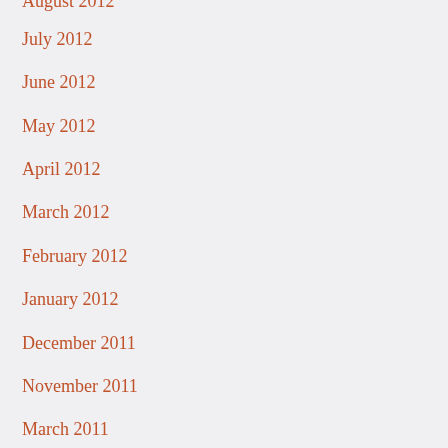August 2012
July 2012
June 2012
May 2012
April 2012
March 2012
February 2012
January 2012
December 2011
November 2011
March 2011
RECENT POSTS
The 25th Anniversary of Toronto's ACC Summerfest 2022 Was A Great Success – Record-Breaking Attendance
Toronto Pearson Airport, Baggage and Flight delays and cancelations